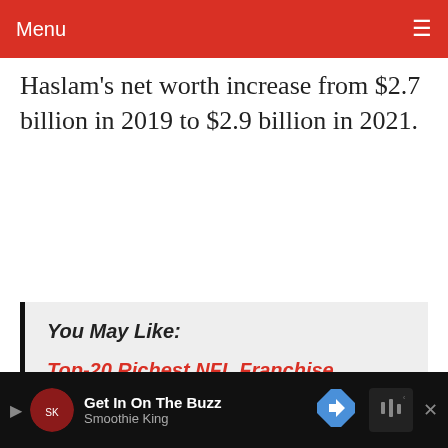Menu
Haslam's net worth increase from $2.7 billion in 2019 to $2.9 billion in 2021.
You May Like:
Top-20 Richest NFL Franchise Owners
ADVERTISEMENT
Get In On The Buzz
Smoothie King